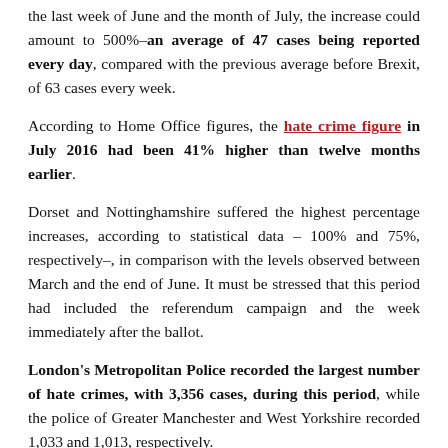the last week of June and the month of July, the increase could amount to 500%–an average of 47 cases being reported every day, compared with the previous average before Brexit, of 63 cases every week.
According to Home Office figures, the hate crime figure in July 2016 had been 41% higher than twelve months earlier.
Dorset and Nottinghamshire suffered the highest percentage increases, according to statistical data – 100% and 75%, respectively–, in comparison with the levels observed between March and the end of June. It must be stressed that this period had included the referendum campaign and the week immediately after the ballot.
London's Metropolitan Police recorded the largest number of hate crimes, with 3,356 cases, during this period, while the police of Greater Manchester and West Yorkshire recorded 1,033 and 1,013, respectively.